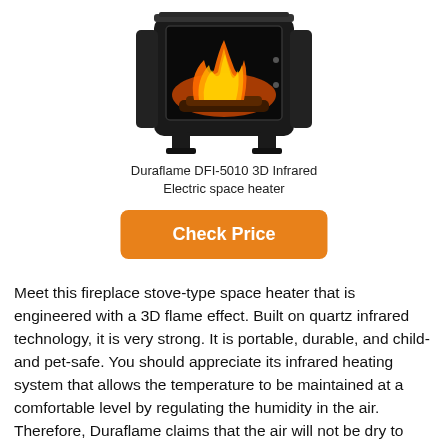[Figure (photo): Duraflame DFI-5010 3D Infrared Electric space heater — a black freestanding fireplace stove with glowing orange 3D flame effect visible through the glass front panel]
Duraflame DFI-5010 3D Infrared Electric space heater
[Figure (other): Orange 'Check Price' button]
Meet this fireplace stove-type space heater that is engineered with a 3D flame effect. Built on quartz infrared technology, it is very strong. It is portable, durable, and child- and pet-safe. You should appreciate its infrared heating system that allows the temperature to be maintained at a comfortable level by regulating the humidity in the air. Therefore, Duraflame claims that the air will not be dry to ensure comfortable warmth.